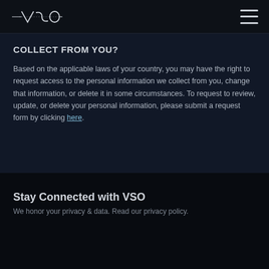VSO [logo]
COLLECT FROM YOU?
Based on the applicable laws of your country, you may have the right to request access to the personal information we collect from you, change that information, or delete it in some circumstances. To request to review, update, or delete your personal information, please submit a request form by clicking here.
Stay Connected with VSO
We honor your privacy & data. Read our privacy policy.